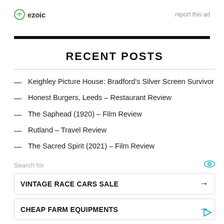ezoic   report this ad
RECENT POSTS
Keighley Picture House: Bradford's Silver Screen Survivor
Honest Burgers, Leeds – Restaurant Review
The Saphead (1920) – Film Review
Rutland – Travel Review
The Sacred Spirit (2021) – Film Review
Search for
VINTAGE RACE CARS SALE
CHEAP FARM EQUIPMENTS